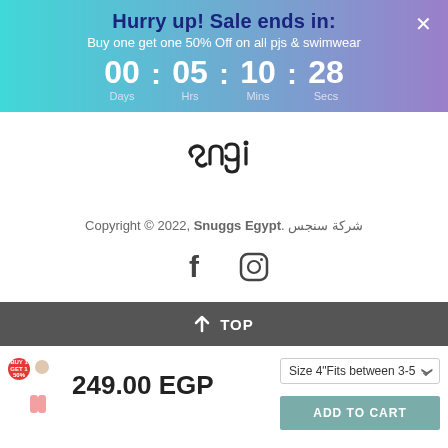[Figure (infographic): Sale countdown banner with gradient background (cyan to purple). Title: 'Hurry up! Sale ends in:'. Subtitle: 'Buy one get one 50% Off on all pjs & swimwear'. Countdown: 00 Days : 05 Hrs : 10 Mins : 28 Secs. Close button (x) top right.]
[Figure (logo): Snuggs Egypt brand logo in stylized text/script]
Copyright © 2022, Snuggs Egypt. شركة سنجس
[Figure (infographic): Social media icons: Facebook (f) and Instagram (camera icon)]
↑ TOP
[Figure (photo): Small product thumbnail of child in white outfit, with red sale badge top left showing BUY 1 GET 1 50%]
249.00 EGP
Size 4"Fits between 3-5
ADD TO CART